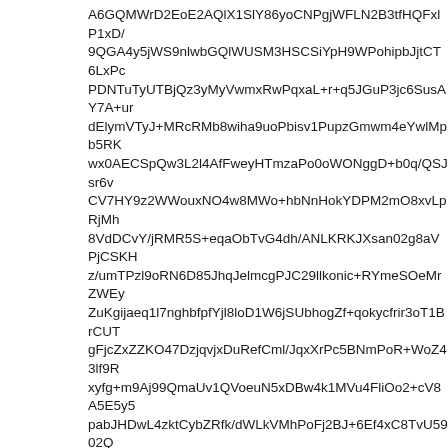A6GQMWrD2EoE2AQlX1SlY86yoCNPgjWFLN2B3tfHQFxlP1xD/9QGA4y5jWS9nlwbGQlWUSM3HSCSiYpH9WPohipbJjtCT6LxPcPDNTuTyUTBjQz3yMyVwmxRwPqxaL+r+q5JGuP3jc6SusAY7A+undElymVTyJ+MRcRMb8wiha9uoPbisv1PupzGmwm4eYwlMpb5RKwx0AECSpQw3L2l4AfFweyHTmzaPo0oWONggD+b0q/QSJsr6vCV7HY9z2WWouxNO4w8MWo+hbNnHokYDPM2mO8xvLpRjMh8VdDCvY/jRMR5S+eqaObTvG4dh/ANLKRKJXsan02g8aVPjCSKHz/umTPzl9oRN6D85JhqJelmcgPJC29llkonic+RYmeSOeMrZWEyZuKgijaeq1l7nghbfpfYjl8loD1W6jSUbhogZf+qokycfrir3oT1BrCUTgFjcZxZZKO47DzjqvjxDuRefCml/JqxXrPc5BNmPoR+WoZ43lf9RxyfG+m9Aj99QmaUv1QVoeuN5xDBw4k1MVu4FliOo2+cV8A5E5y5pabJHDwL4zktCybZRfk/dWLkVMhPoFj2BJ+6Ef4xC8TvU5902QBYwvqdSmBloYUBeVXa5eeyaZbVUew5UqTXWihWryqh5qyvrO/+PlWOUESEccNFFcStc7VgYgzDF+dSgJHST3g3MmkuQHZF2fm5YBLjqr6m9leFCLAaM8e72augqo/yPKaJ3tAMakcD4tHo3G1bno3G0b5AxQyHcyob0g5gVFw4bk82lASPoDgBzD9briVhxrgMPcR-3R6rDqU/T92zVLvs+3lLJgYgG1AUtqOPHVTcl8mszgvlwEglipUoTjkWaou09zdoUvsSOcUutUeul96RZyatC/T8AEXAwZQg4CsGN5ivRotS2VhkAk2omFwwJ8eaexYDXS.J1yDFM5l73dcx1zXlSXGDh